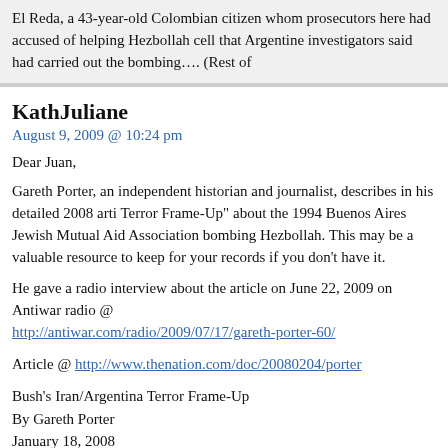El Reda, a 43-year-old Colombian citizen whom prosecutors here had accused of helping Hezbollah cell that Argentine investigators said had carried out the bombing…. (Rest of
KathJuliane
August 9, 2009 @ 10:24 pm
Dear Juan,
Gareth Porter, an independent historian and journalist, describes in his detailed 2008 arti Terror Frame-Up" about the 1994 Buenos Aires Jewish Mutual Aid Association bombing Hezbollah. This may be a valuable resource to keep for your records if you don't have it.
He gave a radio interview about the article on June 22, 2009 on Antiwar radio @ http://antiwar.com/radio/2009/07/17/gareth-porter-60/
Article @ http://www.thenation.com/doc/20080204/porter
Bush's Iran/Argentina Terror Frame-Up
By Gareth Porter
January 18, 2008
…"After spending several months interviewing officials at the US Embassy in Buenos A Argentine investigation, the head of the FBI team that assisted it and the most knowledge investigator of the case, I found that no real evidence has ever been found to implicate Ir
Based on these interviews and the documentary record of the investigation, it is impossib